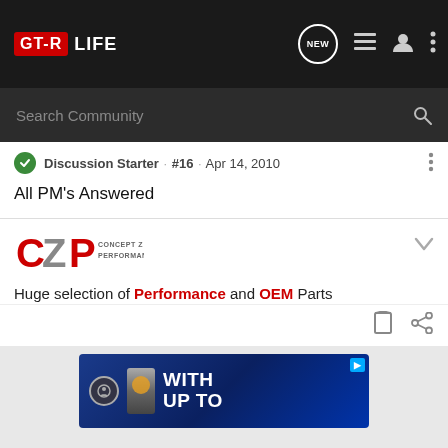GT-R LIFE
Search Community
Discussion Starter · #16 · Apr 14, 2010
All PM's Answered
[Figure (logo): CZP Concept Z Performance logo]
Huge selection of Performance and OEM Parts
[Figure (photo): Advertisement banner with blue background showing cans and text WITH UP TO]